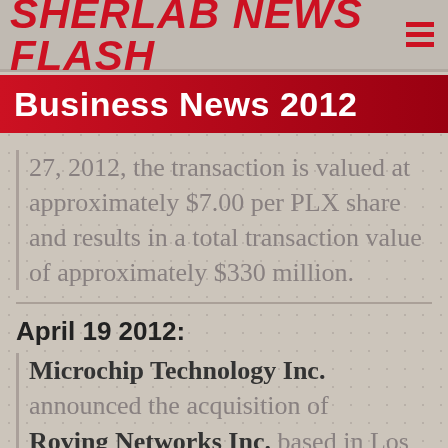Sherlab News Flash
Business News 2012
27, 2012, the transaction is valued at approximately $7.00 per PLX share and results in a total transaction value of approximately $330 million.
April 19 2012:
Microchip Technology Inc. announced the acquisition of Roving Networks Inc. based in Los